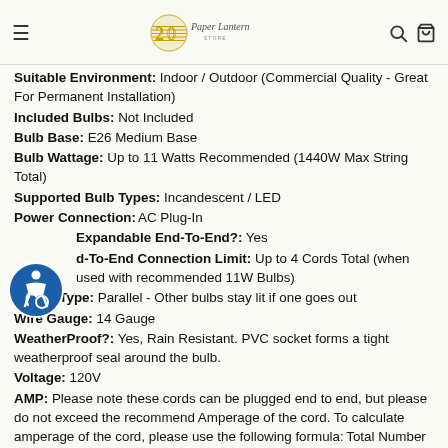Paper Lantern Store — navigation header
Suitable Environment: Indoor / Outdoor (Commercial Quality - Great For Permanent Installation)
Included Bulbs: Not Included
Bulb Base: E26 Medium Base
Bulb Wattage: Up to 11 Watts Recommended (1440W Max String Total)
Supported Bulb Types: Incandescent / LED
Power Connection: AC Plug-In
Expandable End-To-End?: Yes
End-To-End Connection Limit: Up to 4 Cords Total (when used with recommended 11W Bulbs)
Wiring Type: Parallel - Other bulbs stay lit if one goes out
Wire Gauge: 14 Gauge
WeatherProof?: Yes, Rain Resistant. PVC socket forms a tight weatherproof seal around the bulb.
Voltage: 120V
AMP: Please note these cords can be plugged end to end, but please do not exceed the recommend Amperage of the cord. To calculate amperage of the cord, please use the following formula: Total Number of